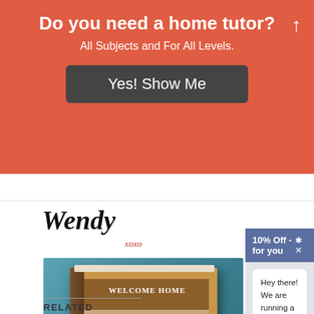Do you need a home tutor?
All Subjects and For All Levels.
Yes! Show Me
[Figure (screenshot): Screenshot of a webpage with a red/orange banner ad for a home tutor service, a blog with Wendy signature and a Welcome Home book image, and a chat popup offering 10% off with coupon LOYALTY20]
10% Off - for you
Hey there! We are running a special 10% off this month for new students – like you. Use coupon LOYALTY20 during checkout.
RELATED